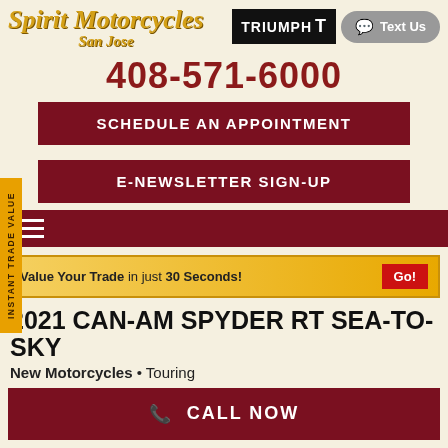[Figure (logo): Spirit Motorcycles San Jose logo in gold italic script, with Triumph motorcycle brand badge]
Text Us
408-571-6000
SCHEDULE AN APPOINTMENT
E-NEWSLETTER SIGN-UP
INSTANT TRADE VALUE
Value Your Trade in just 30 Seconds! Go!
2021 CAN-AM SPYDER RT SEA-TO-SKY
New Motorcycles • Touring
CALL NOW
$20,700